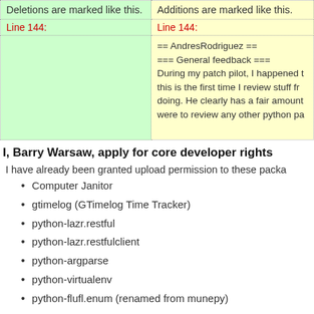| Deletions are marked like this. | Additions are marked like this. |
| --- | --- |
| Line 144: | Line 144: |
|  | == AndresRodriguez ==
=== General feedback ===
During my patch pilot, I happened t...
this is the first time I review stuff fr...
doing. He clearly has a fair amount...
were to review any other python pa... |
I, Barry Warsaw, apply for core developer rights
I have already been granted upload permission to these packa...
Computer Janitor
gtimelog (GTimelog Time Tracker)
python-lazr.restful
python-lazr.restfulclient
python-argparse
python-virtualenv
python-flufl.enum (renamed from munepy)